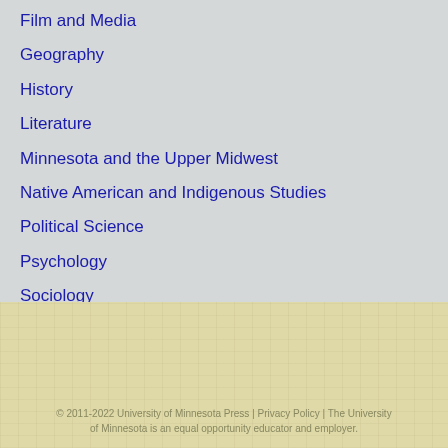Film and Media
Geography
History
Literature
Minnesota and the Upper Midwest
Native American and Indigenous Studies
Political Science
Psychology
Sociology
Theory and Philosophy
© 2011-2022 University of Minnesota Press | Privacy Policy | The University of Minnesota is an equal opportunity educator and employer.